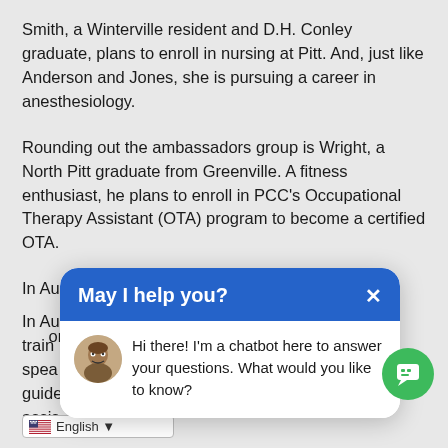Smith, a Winterville resident and D.H. Conley graduate, plans to enroll in nursing at Pitt. And, just like Anderson and Jones, she is pursuing a career in anesthesiology.
Rounding out the ambassadors group is Wright, a North Pitt graduate from Greenville. A fitness enthusiast, he plans to enroll in PCC's Occupational Therapy Assistant (OTA) program to become a certified OTA.
In Au[...] dership train[...] olic spea[...] ors, and guide[...] day assis[...]
[Figure (screenshot): Chatbot popup overlay with blue header reading 'May I help you?' and an X close button, below which is a white body area with a circular avatar image and text: 'Hi there! I'm a chatbot here to answer your questions. What would you like to know?']